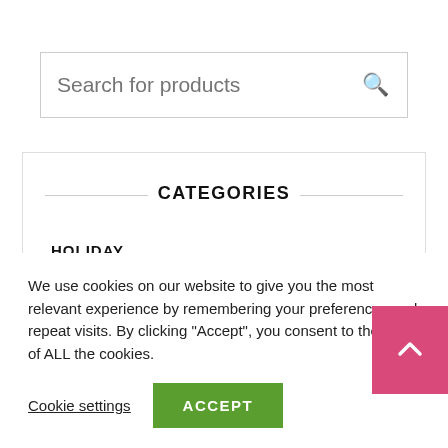Search for products
CATEGORIES
HOLIDAY
OCCASIONS
We use cookies on our website to give you the most relevant experience by remembering your preferences and repeat visits. By clicking “Accept”, you consent to the use of ALL the cookies.
Cookie settings
ACCEPT